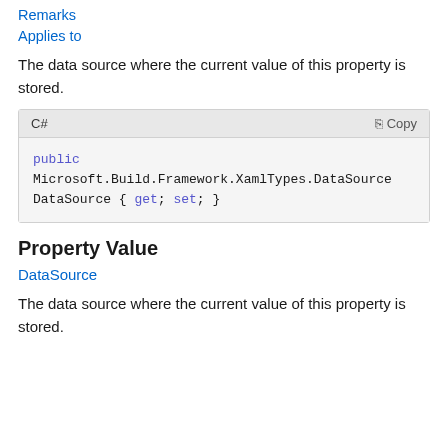Remarks
Applies to
The data source where the current value of this property is stored.
C#
public Microsoft.Build.Framework.XamlTypes.DataSource DataSource { get; set; }
Property Value
DataSource
The data source where the current value of this property is stored.